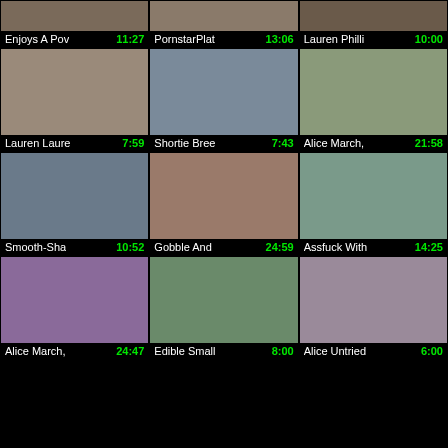[Figure (screenshot): Video thumbnail grid showing adult content titles with durations]
Enjoys A Pow 11:27 | PornstarPlat 13:06 | Lauren Philli 10:00
Lauren Laure 7:59 | Shortie Bree 7:43 | Alice March, 21:58
Smooth-Sha 10:52 | Gobble And 24:59 | Assfuck With 14:25
Alice March, 24:47 | Edible Small 8:00 | Alice Untried 6:00